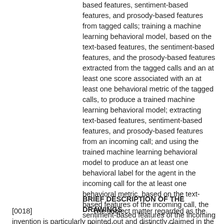based features, sentiment-based features, and prosody-based features from tagged calls; training a machine learning behavioral model, based on the text-based features, the sentiment-based features, and the prosody-based features extracted from the tagged calls and an at least one score associated with an at least one behavioral metric of the tagged calls, to produce a trained machine learning behavioral model; extracting text-based features, sentiment-based features, and prosody-based features from an incoming call; and using the trained machine learning behavioral model to produce an at least one behavioral label for the agent in the incoming call for the at least one behavioral metric, based on the text-based features of the incoming call, the sentiment-based features of the incoming call and the prosody-based features of the incoming call.
BRIEF DESCRIPTION OF THE DRAWINGS
[0018] The subject matter regarded as the invention is particularly pointed out and distinctly claimed in the concluding portion of the specification. The